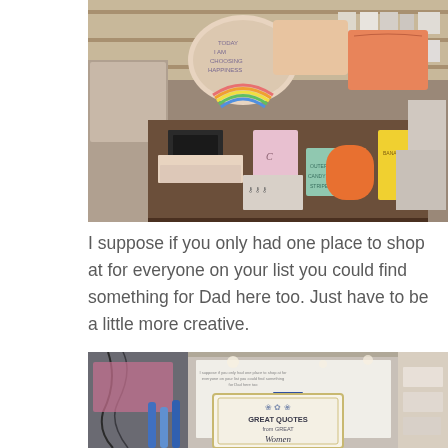[Figure (photo): A store display table covered with colorful gift items, pouches, boxes, bags and novelty products on shelves in the background.]
I suppose if you only had one place to shop at for everyone on your list you could find something for Dad here too. Just have to be a little more creative.
[Figure (photo): A store interior showing a book titled 'GREAT QUOTES from GREAT Women' prominently displayed, with other books, pens, and store items visible.]